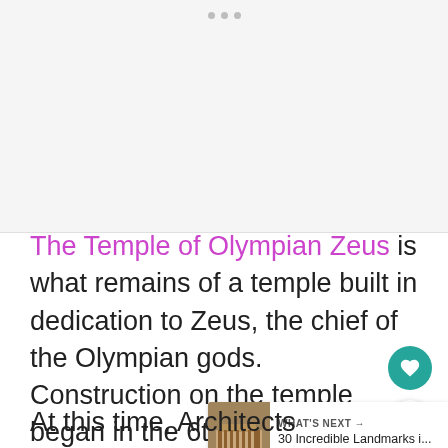[Figure (photo): Placeholder image area for Temple of Olympian Zeus photograph, shown as light gray with three small dots at the top center indicating a loading or navigation indicator.]
The Temple of Olympian Zeus is what remains of a temple built in dedication to Zeus, the chief of the Olympian gods. Construction on the temple began in the 6th century.
At this time, Architects Antistates,